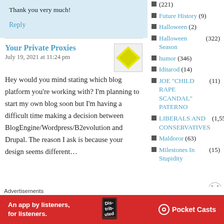Thank you very much!
Reply
Your Private Proxies
July 19, 2021 at 11:24 pm
Hey would you mind stating which blog platform you're working with? I'm planning to start my own blog soon but I'm having a difficult time making a decision between BlogEngine/Wordpress/B2evolution and Drupal. The reason I ask is because your design seems different...
(221)
Future History (9)
Halloween (2)
Halloween Season (322)
humor (346)
Iditarod (14)
JOE "CHILD RAPE SCANDAL" PATERNO (11)
LIBERALS AND CONSERVATIVES (1,558)
Maldoror (63)
Milestones In Stupidity (15)
Advertisements
[Figure (infographic): Red advertisement banner for Pocket Casts: 'An app by listeners, for listeners.' with stylized book/phone graphic and Pocket Casts logo]